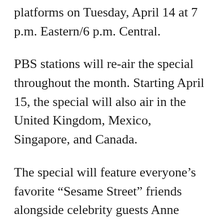platforms on Tuesday, April 14 at 7 p.m. Eastern/6 p.m. Central.
PBS stations will re-air the special throughout the month. Starting April 15, the special will also air in the United Kingdom, Mexico, Singapore, and Canada.
The special will feature everyone’s favorite “Sesame Street” friends alongside celebrity guests Anne Hathaway, Lin-Manuel Miranda, and Tracee Ellis Ross.
“We hope ‘Sesame Street: Elmo’s Playdate’ will entertain and inspire families at a moment when so many are feeling isolated and overwhelmed by